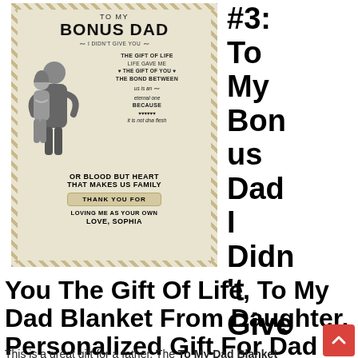[Figure (photo): Product photo of a woven blanket with text 'To My Bonus Dad, I Didn't Give You The Gift Of Life, Life Gave Me The Gift Of You, The Bond Between Us Is An Eternal One, Because It Is Not DNA Flesh Or Blood But Heart That Makes Us Family, Thank You For Loving Me As Your Own, Love, Sophia' and an illustration of a father and daughter hugging]
#3: To My Bonus Dad I Didn't Give You The Gift Of Life, To My Dad Blanket From Daughter, Personalized Gift For Dad
This is a great gift for a father. The To My Dad Blanket